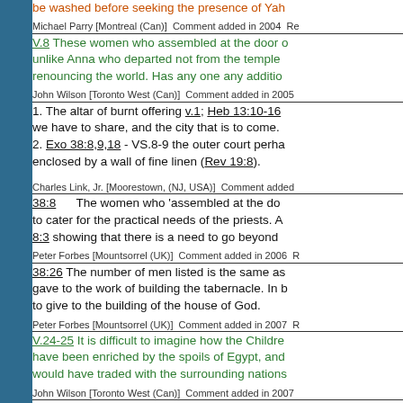be washed before seeking the presence of Yah...
Michael Parry [Montreal (Can)]  Comment added in 2004  Re...
V.8 These women who assembled at the door... unlike Anna who departed not from the temple... renouncing the world. Has any one any additio...
John Wilson [Toronto West (Can)]  Comment added in 2005
1. The altar of burnt offering v.1; Heb 13:10-16... we have to share, and the city that is to come. 2. Exo 38:8,9,18 - VS.8-9 the outer court perha... enclosed by a wall of fine linen (Rev 19:8).
Charles Link, Jr. [Moorestown, (NJ, USA)]  Comment added...
38:8  The women who 'assembled at the do... to cater for the practical needs of the priests. 8:3 showing that there is a need to go beyond...
Peter Forbes [Mountsorrel (UK)]  Comment added in 2006  R...
38:26 The number of men listed is the same as... gave to the work of building the tabernacle. In b... to give to the building of the house of God.
Peter Forbes [Mountsorrel (UK)]  Comment added in 2007  R...
V.24-25 It is difficult to imagine how the Childre... have been enriched by the spoils of Egypt, and... would have traded with the surrounding nations...
John Wilson [Toronto West (Can)]  Comment added in 2007
In Chapter 37, we read about the furniture of th... overlaid with fine gold. In Chapter 38, the altar... the pillars, were all made of bronze. Gold is a... corrupting, over time. It is, therefore, a fitting m... made up of base, corruptible metals. It aptly re...